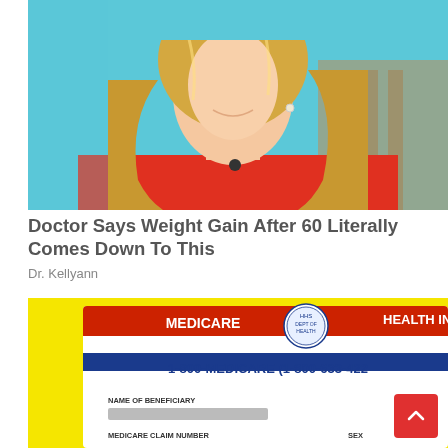[Figure (photo): Woman with blonde hair wearing a red top, photographed from the shoulders up against a teal/blue background, appears to be a TV studio setting]
Doctor Says Weight Gain After 60 Literally Comes Down To This
Dr. Kellyann
[Figure (photo): Medicare health insurance card on yellow background showing: MEDICARE, HEALTH INS[URANCE], 1-800-MEDICARE (1-800-633-422[7]), NAME OF BENEFICIARY (blurred), MEDICARE CLAIM NUMBER, SEX]